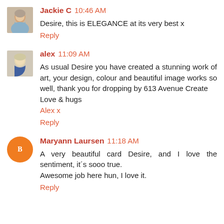[Figure (photo): Profile photo of Jackie C, older woman]
Jackie C 10:46 AM
Desire, this is ELEGANCE at its very best x
Reply
[Figure (photo): Profile photo of alex, woman with short light hair]
alex 11:09 AM
As usual Desire you have created a stunning work of art, your design, colour and beautiful image works so well, thank you for dropping by 613 Avenue Create
Love & hugs
Alex x
Reply
[Figure (illustration): Orange circle avatar with Blogger 'B' logo]
Maryann Laursen 11:18 AM
A very beautiful card Desire, and I love the sentiment, it´s sooo true.
Awesome job here hun, I love it.
Reply